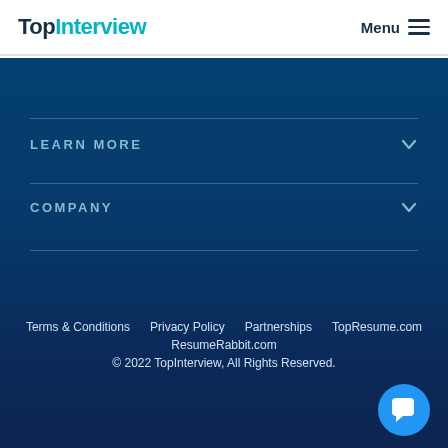TopInterview   Menu
LEARN MORE
COMPANY
Terms & Conditions   Privacy Policy   Partnerships   TopResume.com   ResumeRabbit.com
© 2022 TopInterview, All Rights Reserved.